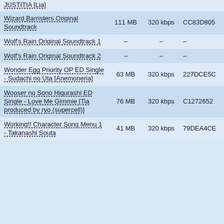| Name | Size | Bitrate | Hash |
| --- | --- | --- | --- |
| JUSTITIA [Lia] |  |  |  |
| Wizard Barristers Original Soundtrack | 111 MB | 320 kbps | CC83D805 |
| Wolf's Rain Original Soundtrack 1 | – | – | – |
| Wolf's Rain Original Soundtrack 2 | – | – | – |
| Wonder Egg Priority OP ED Single - Sudachi no Uta [Anemoneria] | 63 MB | 320 kbps | 227DCE5C |
| Wooser no Sono Higurashi ED Single - Love Me Gimmie [Tia produced by ryo (supercell)] | 76 MB | 320 kbps | C1272652 |
| Working!! Character Song Menu 1 - Takanashi Souta | 41 MB | 320 kbps | 79DEA4CE |